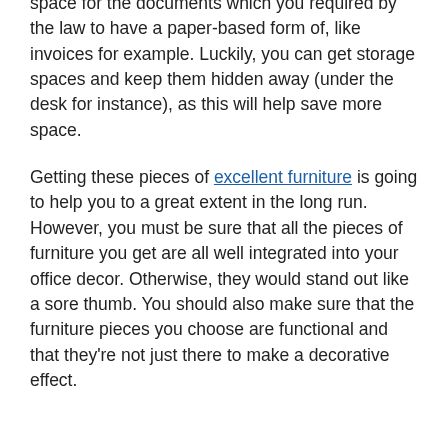paperless is crucial in terms of saving time, money, and space, you might still need storage space for the documents which you required by the law to have a paper-based form of, like invoices for example. Luckily, you can get storage spaces and keep them hidden away (under the desk for instance), as this will help save more space.
Getting these pieces of excellent furniture is going to help you to a great extent in the long run. However, you must be sure that all the pieces of furniture you get are all well integrated into your office decor. Otherwise, they would stand out like a sore thumb. You should also make sure that the furniture pieces you choose are functional and that they're not just there to make a decorative effect.